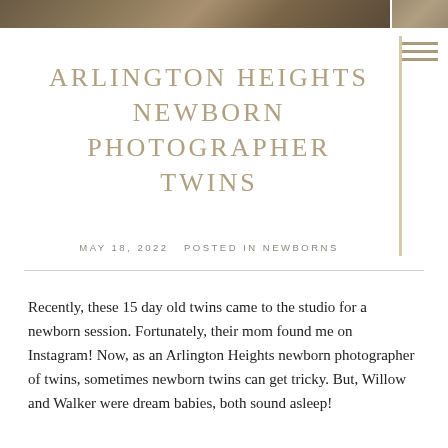[Figure (photo): Top banner photo of a wooden surface or rustic background, dark brown tones]
ARLINGTON HEIGHTS NEWBORN PHOTOGRAPHER TWINS
MAY 18, 2022   POSTED IN NEWBORNS
Recently, these 15 day old twins came to the studio for a newborn session. Fortunately, their mom found me on Instagram! Now, as an Arlington Heights newborn photographer of twins, sometimes newborn twins can get tricky. But, Willow and Walker were dream babies, both sound asleep!